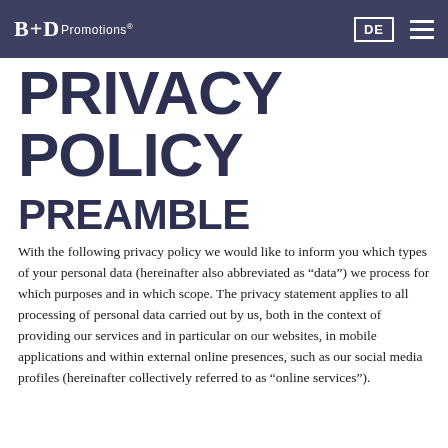B+D Promotions | DE
PRIVACY POLICY
PREAMBLE
With the following privacy policy we would like to inform you which types of your personal data (hereinafter also abbreviated as “data”) we process for which purposes and in which scope. The privacy statement applies to all processing of personal data carried out by us, both in the context of providing our services and in particular on our websites, in mobile applications and within external online presences, such as our social media profiles (hereinafter collectively referred to as “online services”).